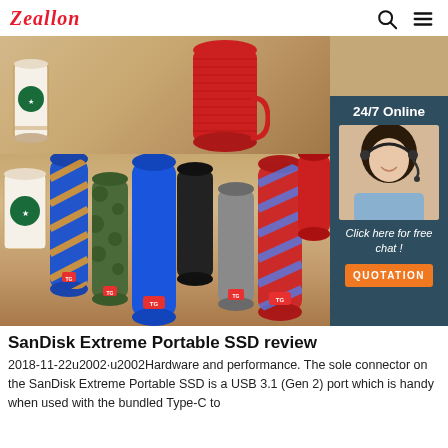Zeallon
[Figure (photo): Hero image showing various colorful portable Bluetooth speakers arranged on a wooden surface, with Starbucks coffee cups. A red cylindrical speaker is visible at the top, and multiple speakers in different colors and patterns (blue, black, green camo, grey, red, patterned) are shown in the lower portion. A 24/7 Online chat sidebar with a female customer service agent wearing a headset is shown on the right, with a 'Click here for free chat!' message and an orange QUOTATION button.]
SanDisk Extreme Portable SSD review
2018-11-22u2002·u2002Hardware and performance. The sole connector on the SanDisk Extreme Portable SSD is a USB 3.1 (Gen 2) port which is handy when used with the bundled Type-C to